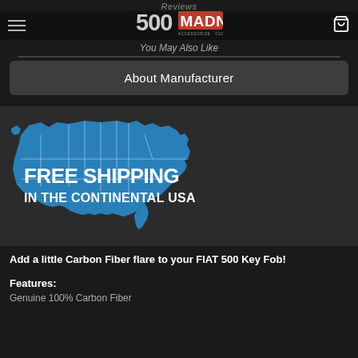Reviews
[Figure (logo): 500 MADNESS logo with tagline ACCESSORIZE · CUSTOMIZE · PERSONALIZE on dark background with hamburger menu and cart icon]
You May Also Like
About Manufacturer
[Figure (infographic): Blue US map silhouette with text FREE SHIPPING IN THE CONTINENTAL USA on dark background]
Add a little Carbon Fiber flare to your FIAT 500 Key Fob!
Features:
Genuine 100% Carbon Fiber